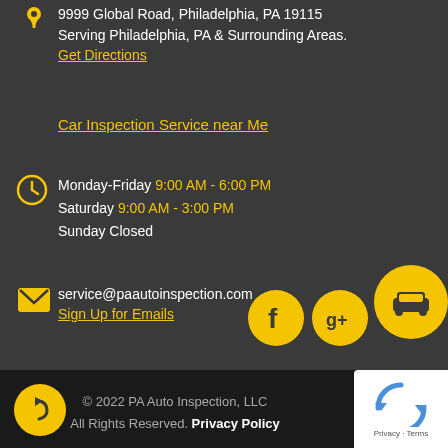9999 Global Road, Philadelphia, PA 19115
Serving Philadelphia, PA & Surrounding Areas.
Get Directions
Car Inspection Service near Me
Monday-Friday 9:00 AM - 6:00 PM
Saturday 9:00 AM - 3:00 PM
Sunday Closed
service@paautoinspection.com
Sign Up for Emails
[Figure (infographic): Social media icons: Facebook (f) and Google+ (g+) yellow circles, and a yellow car icon circle]
© 2022 PA Auto Inspection, LLC
All Rights Reserved. Privacy Policy